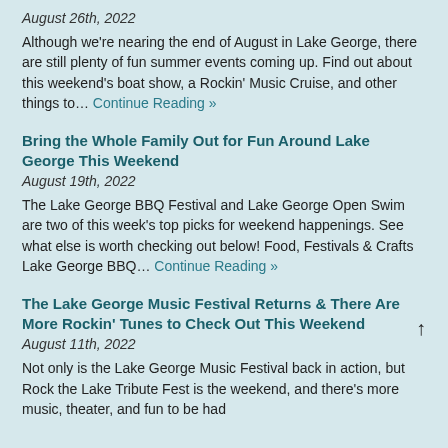August 26th, 2022
Although we're nearing the end of August in Lake George, there are still plenty of fun summer events coming up. Find out about this weekend's boat show, a Rockin' Music Cruise, and other things to… Continue Reading »
Bring the Whole Family Out for Fun Around Lake George This Weekend
August 19th, 2022
The Lake George BBQ Festival and Lake George Open Swim are two of this week's top picks for weekend happenings. See what else is worth checking out below! Food, Festivals & Crafts Lake George BBQ… Continue Reading »
The Lake George Music Festival Returns & There Are More Rockin' Tunes to Check Out This Weekend
August 11th, 2022
Not only is the Lake George Music Festival back in action, but Rock the Lake Tribute Fest is the weekend, and there's more music, theater, and fun to be had